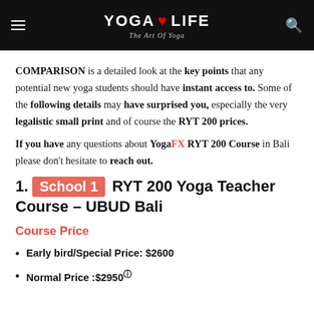YOGA LIFE – The Art Of Yoga
COMPARISON is a detailed look at the key points that any potential new yoga students should have instant access to. Some of the following details may have surprised you, especially the very legalistic small print and of course the RYT 200 prices.
If you have any questions about YogaFX RYT 200 Course in Bali please don't hesitate to reach out.
1. School 1 RYT 200 Yoga Teacher Course – UBUD Bali
Course Price
Early bird/Special Price: $2600
Normal Price :$2950 ⓘ